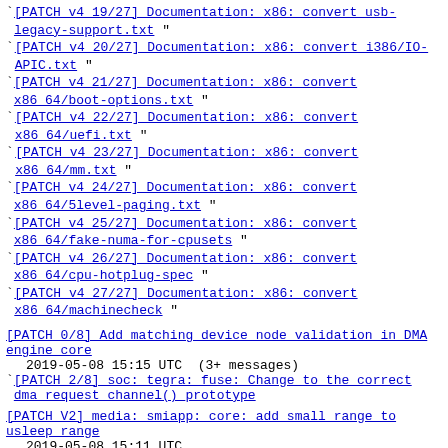[PATCH v4 19/27] Documentation: x86: convert usb-legacy-support.txt "
[PATCH v4 20/27] Documentation: x86: convert i386/IO-APIC.txt "
[PATCH v4 21/27] Documentation: x86: convert x86_64/boot-options.txt "
[PATCH v4 22/27] Documentation: x86: convert x86_64/uefi.txt "
[PATCH v4 23/27] Documentation: x86: convert x86_64/mm.txt "
[PATCH v4 24/27] Documentation: x86: convert x86_64/5level-paging.txt "
[PATCH v4 25/27] Documentation: x86: convert x86_64/fake-numa-for-cpusets "
[PATCH v4 26/27] Documentation: x86: convert x86_64/cpu-hotplug-spec "
[PATCH v4 27/27] Documentation: x86: convert x86_64/machinecheck "
[PATCH 0/8] Add matching device node validation in DMA engine core
2019-05-08 15:15 UTC  (3+ messages)
[PATCH 2/8] soc: tegra: fuse: Change to the correct dma_request_channel()_prototype
[PATCH V2] media: smiapp: core: add small range to usleep range
2019-05-08 15:11 UTC